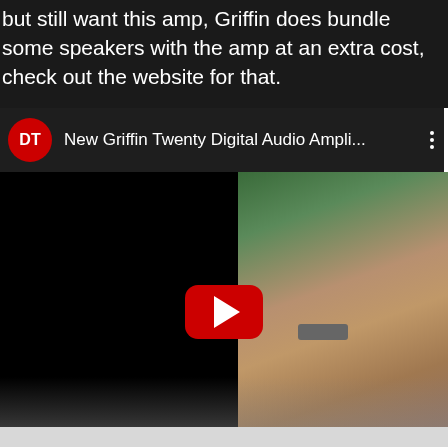but still want this amp, Griffin does bundle some speakers with the amp at an extra cost, check out the website for that.
[Figure (screenshot): YouTube video thumbnail showing 'New Griffin Twenty Digital Audio Ampli...' with the DT channel icon (red circle with white DT letters), a three-dot menu icon, and a video frame showing a hand touching a device on a table with a red YouTube play button in the center.]